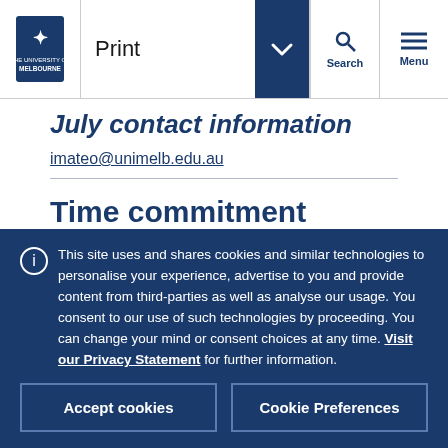University of Melbourne — Print / Search / Menu navigation bar
July contact information
imateo@unimelb.edu.au
Time commitment details
This site uses and shares cookies and similar technologies to personalise your experience, advertise to you and provide content from third-parties as well as analyse our usage. You consent to our use of such technologies by proceeding. You can change your mind or consent choices at any time. Visit our Privacy Statement for further information.
Accept cookies | Cookie Preferences